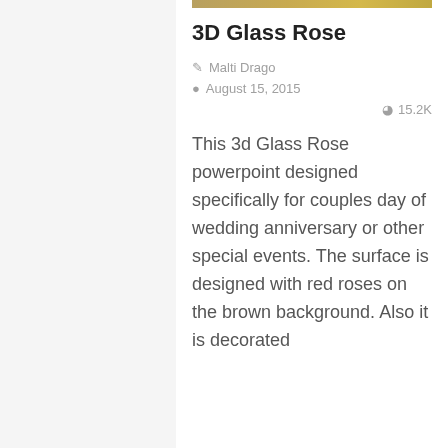[Figure (photo): Thumbnail image strip of 3D Glass Rose presentation — brown/gold toned banner]
3D Glass Rose
Malti Drago
August 15, 2015
15.2K
This 3d Glass Rose powerpoint designed specifically for couples day of wedding anniversary or other special events. The surface is designed with red roses on the brown background. Also it is decorated